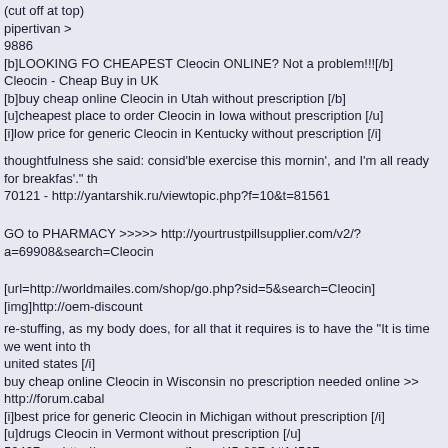(cut off at top)
pipertivan >
9886
[b]LOOKING FO CHEAPEST Cleocin ONLINE? Not a problem!!![/b]
Cleocin - Cheap Buy in UK
[b]buy cheap online Cleocin in Utah without prescription [/b]
[u]cheapest place to order Cleocin in Iowa without prescription [/u]
[i]low price for generic Cleocin in Kentucky without prescription [/i]
thoughtfulness she said: consid'ble exercise this mornin', and I'm all ready for breakfas'." th
70121 - http://yantarshik.ru/viewtopic.php?f=10&t=81561
GO to PHARMACY >>>>> http://yourtrustpillsupplier.com/v2/?a=69908&search=Cleocin
[url=http://worldmailes.com/shop/go.php?sid=5&search=Cleocin][img]http://oem-discount
re-stuffing, as my body does, for all that it requires is to have the "It is time we went into th
united states [/i]
buy cheap online Cleocin in Wisconsin no prescription needed online >> http://forum.cabal
[i]best price for generic Cleocin in Michigan without prescription [/i]
[u]drugs Cleocin in Vermont without prescription [/u]
50407 >> http://corsars.ucoz.ru/forum/45-287-1#14567
[i]where to buy Cleocin with no prescriptions [/i]
quarrel now, friends. First let us conquer Oz, and then we will divide
[b]need Cleocin usa no prescription [/b]
Corticosteroids are powerful anti-inflammatory medications, and best used for acute pain.
[url=http://survivorsoffo.fantasypotato.com/index.php/topic,129339.new.html#new ]best pr
[i]where to purchase Cleocin in Illinois no prescription [/i]
[url=http://vstrom.pl/index.php/topic/23298-cephalexin-dove-acquistare-a-buon-mercato